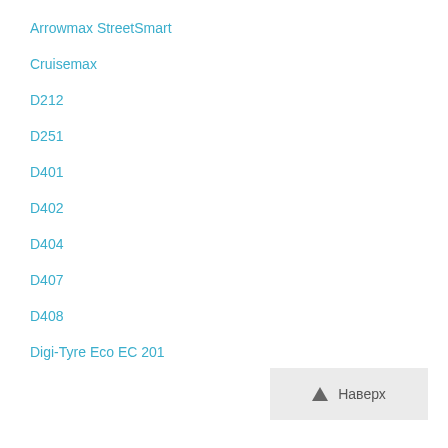Arrowmax StreetSmart
Cruisemax
D212
D251
D401
D402
D404
D407
D408
Digi-Tyre Eco EC 201
▲ Наверх